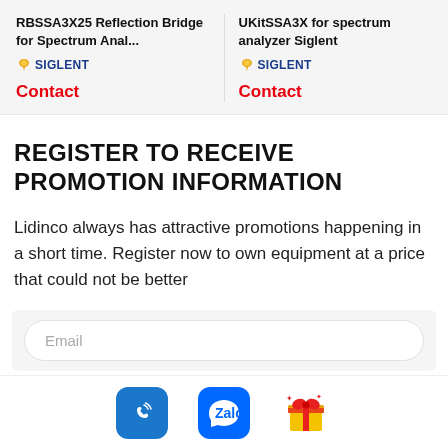RBSSA3X25 Reflection Bridge for Spectrum Anal...
UKitSSA3X for spectrum analyzer Siglent
Contact
Contact
REGISTER TO RECEIVE PROMOTION INFORMATION
Lidinco always has attractive promotions happening in a short time. Register now to own equipment at a price that could not be better
Email
[Figure (infographic): Bottom navigation bar with phone icon (blue rounded square), Zalo icon (blue rounded square), and gift/present emoji icon]